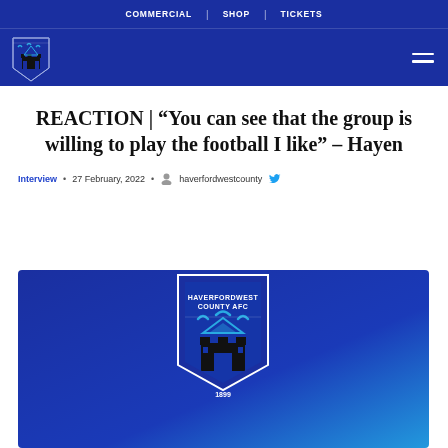COMMERCIAL | SHOP | TICKETS
REACTION | “You can see that the group is willing to play the football I like” – Hayen
Interview • 27 February, 2022 • haverfordwestcounty
[Figure (logo): Haverfordwest County AFC club crest on a blue gradient background, showing the shield with birds and a castle, with text HAVERFORDWEST COUNTY AFC and the year 1899]